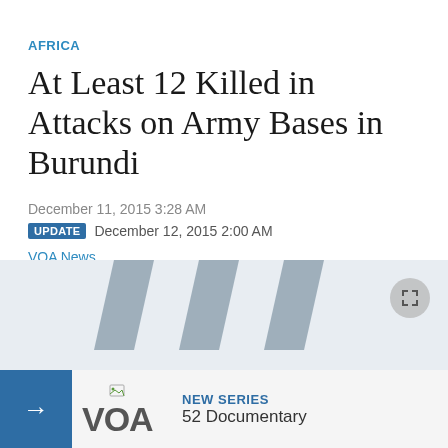AFRICA
At Least 12 Killed in Attacks on Army Bases in Burundi
December 11, 2015 3:28 AM
UPDATE  December 12, 2015 2:00 AM
VOA News
[Figure (screenshot): VOA media player placeholder with large VOA logo watermark on grey background, expand button top right]
NEW SERIES  52 Documentary